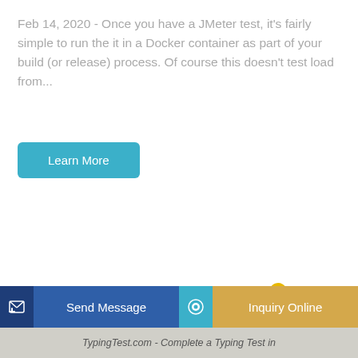Feb 14, 2020 - Once you have a JMeter test, it's fairly simple to run the it in a Docker container as part of your build (or release) process. Of course this doesn't test load from...
[Figure (other): Learn More button - teal/cyan rounded rectangle button with white text]
[Figure (photo): Yellow LOVOL brand excavator/crawler excavator on white background, facing right with arm raised and bucket lowered]
[Figure (other): Bottom action bar with Send Message button (blue) and Inquiry Online button (golden/tan), each with icon on left side]
TypingTest.com - Complete a Typing Test in